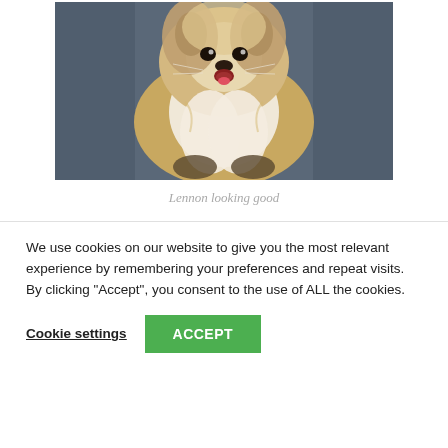[Figure (photo): A fluffy long-haired dog (appears to be a Pomeranian or similar breed) looking at the camera, sitting on a dark surface. The dog has white and tan fur with a fluffy chest.]
Lennon looking good
We use cookies on our website to give you the most relevant experience by remembering your preferences and repeat visits. By clicking “Accept”, you consent to the use of ALL the cookies.
Cookie settings
ACCEPT